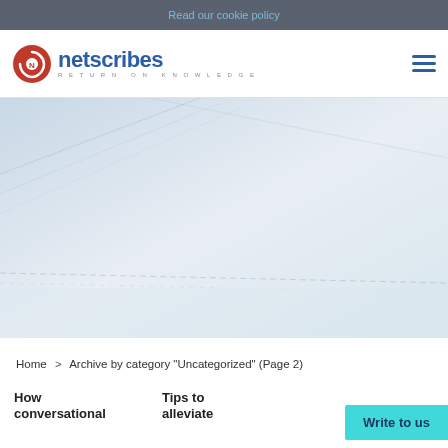Read our cookie policy
[Figure (logo): Netscribes logo with red circular icon and blue text, tagline RETURN ON KNOWLEDGE]
[Figure (photo): Abstract light blue/white hero banner with diagonal geometric lines suggesting a modern tech/data background]
Home > Archive by category "Uncategorized" (Page 2)
How conversational
Tips to alleviate